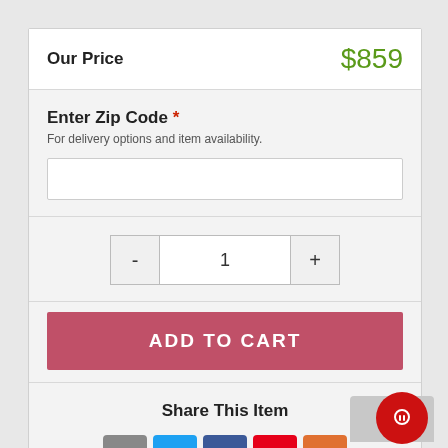Our Price   $859
Enter Zip Code *
For delivery options and item availability.
- 1 +
ADD TO CART
Share This Item